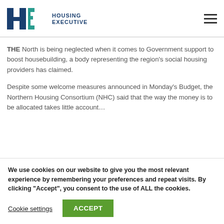Housing Executive
THE North is being neglected when it comes to Government support to boost housebuilding, a body representing the region’s social housing providers has claimed.
Despite some welcome measures announced in Monday’s Budget, the Northern Housing Consortium (NHC) said that the way the money is to be allocated takes little account…
We use cookies on our website to give you the most relevant experience by remembering your preferences and repeat visits. By clicking “Accept”, you consent to the use of ALL the cookies.
Cookie settings | ACCEPT